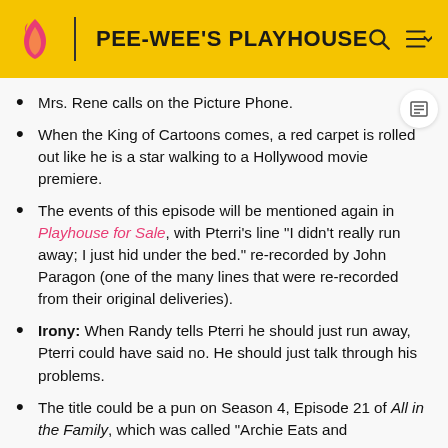PEE-WEE'S PLAYHOUSE
Mrs. Rene calls on the Picture Phone.
When the King of Cartoons comes, a red carpet is rolled out like he is a star walking to a Hollywood movie premiere.
The events of this episode will be mentioned again in Playhouse for Sale, with Pterri's line "I didn't really run away; I just hid under the bed." re-recorded by John Paragon (one of the many lines that were re-recorded from their original deliveries).
Irony: When Randy tells Pterri he should just run away, Pterri could have said no. He should just talk through his problems.
The title could be a pun on Season 4, Episode 21 of All in the Family, which was called "Archie Eats and